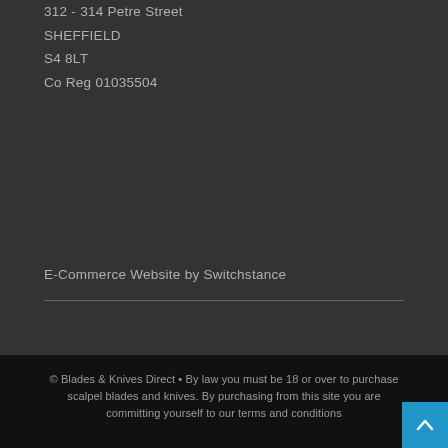312 - 314 Petre Street
SHEFFIELD
S4 8LT
Co Reg 01035504
E-Commerce Website by Switchstance
© Blades & Knives Direct • By law you must be 18 or over to purchase scalpel blades and knives. By purchasing from this site you are committing yourself to our terms and conditions